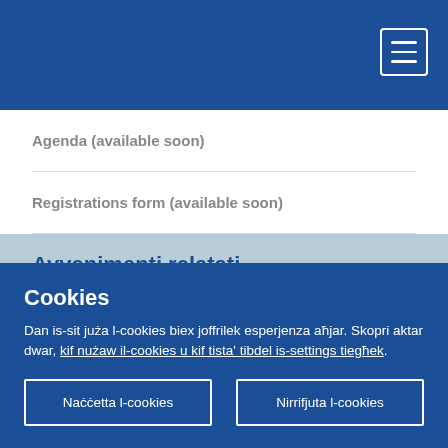Navigation header bar with menu button
Agenda (available soon)
Registrations form (available soon)
Avvenimenti relatati
Cookies
Dan is-sit juża l-cookies biex joffrilek esperjenza aħjar. Skopri aktar dwar, kif nużaw il-cookies u kif tista' tibdel is-settings tiegħek.
Naċċetta l-cookies | Nirrifjuta l-cookies